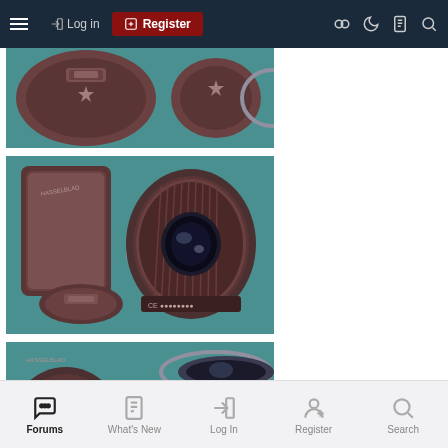Log in | Register — navigation bar with hamburger menu and icons
[Figure (photo): Top-down view of camera lens caps and accessories on a teal/blue surface]
[Figure (photo): Hasselblad camera lens with lens caps and filter ring on a teal/blue surface]
[Figure (photo): Partial view of another camera lens/accessory on teal/blue surface]
Forums | What's New | Log In | Register | Search